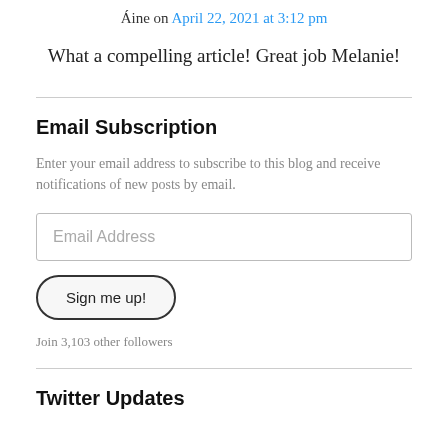Áine on April 22, 2021 at 3:12 pm
What a compelling article! Great job Melanie!
Email Subscription
Enter your email address to subscribe to this blog and receive notifications of new posts by email.
Email Address
Sign me up!
Join 3,103 other followers
Twitter Updates